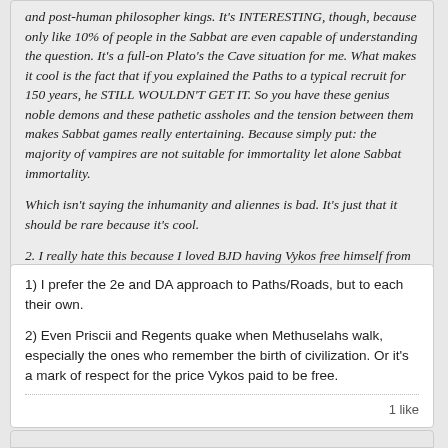and post-human philosopher kings. It's INTERESTING, though, because only like 10% of people in the Sabbat are even capable of understanding the question. It's a full-on Plato's the Cave situation for me. What makes it cool is the fact that if you explained the Paths to a typical recruit for 150 years, he STILL WOULDN'T GET IT. So you have these genius noble demons and these pathetic assholes and the tension between them makes Sabbat games really entertaining. Because simply put: the majority of vampires are not suitable for immortality let alone Sabbat immortality.
Which isn't saying the inhumanity and aliennes is bad. It's just that it should be rare because it's cool.
2. I really hate this because I loved BJD having Vykos free himself from the Dracon and finally end his association with Michael as well as the insanity of the Dream. It seems bioth he and Lucita essentially became their slave masters.
1) I prefer the 2e and DA approach to Paths/Roads, but to each their own.
2) Even Priscii and Regents quake when Methuselahs walk, especially the ones who remember the birth of civilization. Or it's a mark of respect for the price Vykos paid to be free.
1 like